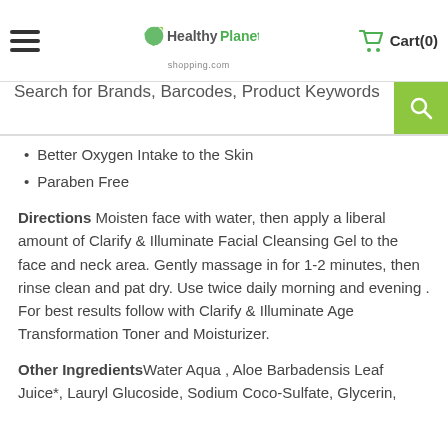Hamburger menu | HealthyPlanet shopping.com | Cart(0)
Search for Brands, Barcodes, Product Keywords
Better Oxygen Intake to the Skin
Paraben Free
Directions Moisten face with water, then apply a liberal amount of Clarify & Illuminate Facial Cleansing Gel to the face and neck area. Gently massage in for 1-2 minutes, then rinse clean and pat dry. Use twice daily morning and evening . For best results follow with Clarify & Illuminate Age Transformation Toner and Moisturizer.
Other Ingredients Water Aqua , Aloe Barbadensis Leaf Juice*, Lauryl Glucoside, Sodium Coco-Sulfate, Glycerin,